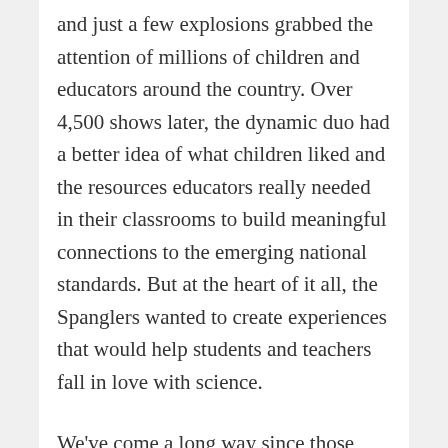and just a few explosions grabbed the attention of millions of children and educators around the country. Over 4,500 shows later, the dynamic duo had a better idea of what children liked and the resources educators really needed in their classrooms to build meaningful connections to the emerging national standards. But at the heart of it all, the Spanglers wanted to create experiences that would help students and teachers fall in love with science.
We've come a long way since those days on the road traveling from school to school. The business that started in a back bedroom and quickly consumed every square foot of garage space now offers more than 350 products created by an amazing team of educators,